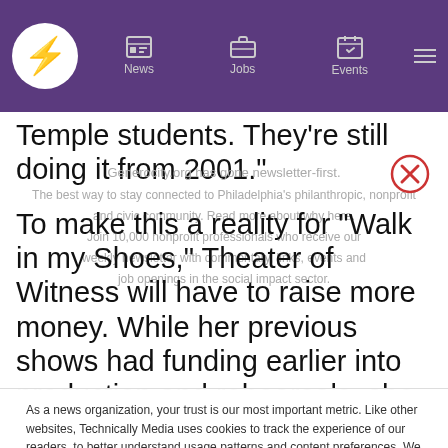News | Jobs | Events
Temple students. They’re still doing it from 2001.”
To make this a reality for “Walk in my Shoes,” Theater of Witness will have to raise more money. While her previous shows had funding earlier into production and rehearsals, she dove in headfirst for this show with Love-Craighead — in part
As a news organization, your trust is our most important metric. Like other websites, Technically Media uses cookies to track the experience of our readers, to better understand usage patterns and content preferences. We will not sell or rent your personal information to third parties. For more information or to contact us, read our entire Ethics & Privacy Policy.
Close